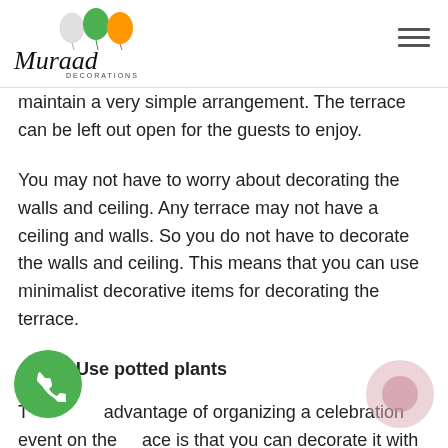Muraad Decorations
maintain a very simple arrangement. The terrace can be left out open for the guests to enjoy.
You may not have to worry about decorating the walls and ceiling. Any terrace may not have a ceiling and walls. So you do not have to decorate the walls and ceiling. This means that you can use minimalist decorative items for decorating the terrace.
2. Use potted plants
The advantage of organizing a celebration event on the terrace is that you can decorate it with pots and greens. There are different types of pots and plants that can be